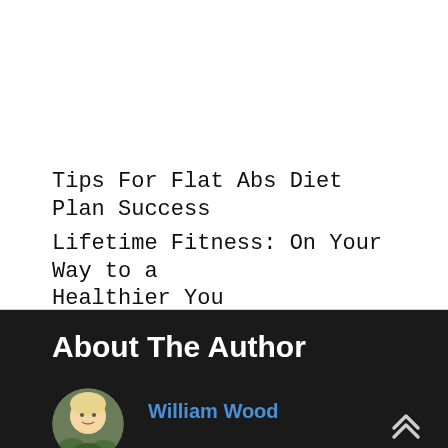Tips For Flat Abs Diet Plan Success
Lifetime Fitness: On Your Way to a Healthier You
About The Author
[Figure (photo): Circular portrait photo of a young blonde child outdoors]
William Wood